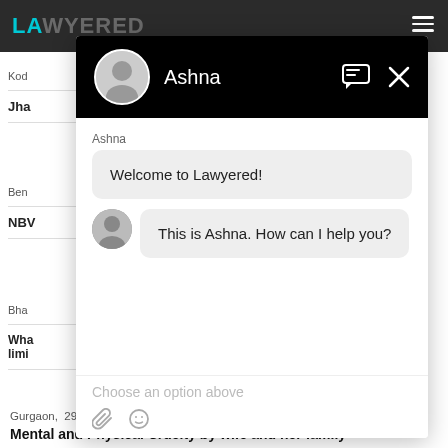LAWYERED
Kod
Jha
Ben
NBV
Bha
Wha limi
[Figure (screenshot): Chat widget popup from Lawyered showing a conversation with Ashna. The header is black with avatar and name. Messages say 'Welcome to Lawyered!' and 'This is Ashna. How can I help you?' with a 'Choose an option above' placeholder at bottom.]
Gurgaon,  29 Jun, 2021,  (1 year, 2 months ago)
Mental and Physical Cruelty by wife and her family